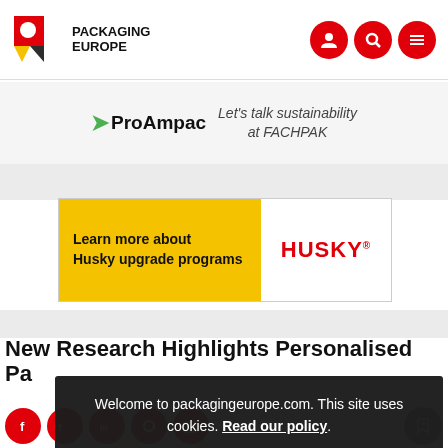Packaging Europe
[Figure (screenshot): ProAmpac banner ad: ProAmpac logo with green chevron, text 'Let's talk sustainability at FACHPAK']
[Figure (screenshot): Husky advertisement banner: yellow background with text 'Learn more about Husky upgrade programs' and red Husky logo on white]
New Research Highlights Personalised Pa…
9
[Figure (screenshot): Cookie consent overlay on dark background: 'Welcome to packagingeurope.com. This site uses cookies. Read our policy.' with red OK button]
Welcome to packagingeurope.com. This site uses cookies. Read our policy.
OK